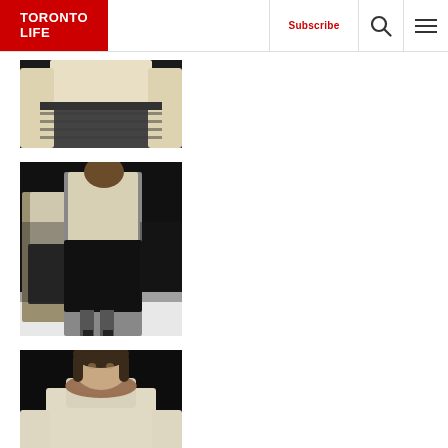Toronto Life — Subscribe | Search | Menu
[Figure (photo): Close-up fashion runway photo showing a model's torso in a cream blouse with a dark leather skirt]
[Figure (photo): Full-length fashion runway photo showing two models in cream blouses and black velvet skirts walking the runway]
[Figure (photo): Fashion runway photo showing a model from waist up in a cream turtleneck top with a fur collar or accessory]